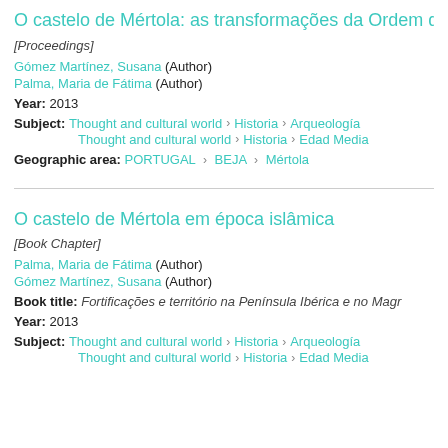O castelo de Mértola: as transformações da Ordem d
[Proceedings]
Gómez Martínez, Susana (Author)
Palma, Maria de Fátima (Author)
Year: 2013
Subject: Thought and cultural world › Historia › Arqueología
Thought and cultural world › Historia › Edad Media
Geographic area: PORTUGAL › BEJA › Mértola
O castelo de Mértola em época islâmica
[Book Chapter]
Palma, Maria de Fátima (Author)
Gómez Martínez, Susana (Author)
Book title: Fortificações e território na Península Ibérica e no Magr
Year: 2013
Subject: Thought and cultural world › Historia › Arqueología
Thought and cultural world › Historia › Edad Media